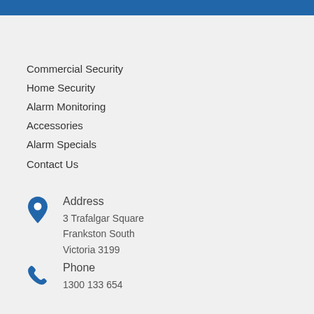Commercial Security
Home Security
Alarm Monitoring
Accessories
Alarm Specials
Contact Us
Address
3 Trafalgar Square
Frankston South
Victoria 3199
Phone
1300 133 654